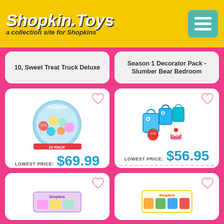Shopkin.Toys — a collection site for Shopkins
10, Sweet Treat Truck Deluxe
Season 1 Decorator Pack - Slumber Bear Bedroom
[Figure (photo): Shopkins Season 1 12-Pack product packaging photo]
LOWEST PRICE: $69.99
Shopkins Season 1 (12-Pack) (Styles Will Vary) (Discontinued by
[Figure (photo): Shopkins Season 1 5-Pack product photo showing blue shopping bags and fruit characters]
LOWEST PRICE: $56.95
Shopkins Season 1 (5-Pack) (Styles Will Vary)
[Figure (photo): Shopkins product partially visible at bottom left]
[Figure (photo): Shopkins product partially visible at bottom right]